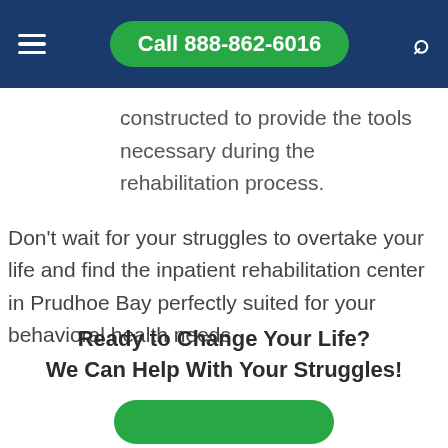Call 888-862-6016
constructed to provide the tools necessary during the rehabilitation process.
Don't wait for your struggles to overtake your life and find the inpatient rehabilitation center in Prudhoe Bay perfectly suited for your behavioral health needs.
Ready to Change Your Life? We Can Help With Your Struggles!